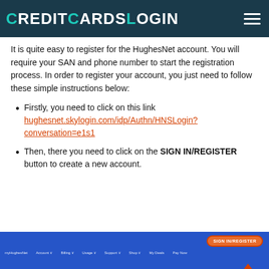CreditCardsLogin
It is quite easy to register for the HughesNet account. You will require your SAN and phone number to start the registration process. In order to register your account, you just need to follow these simple instructions below:
Firstly, you need to click on this link hughesnet.skylogin.com/idp/Authn/HNSLogin?conversation=e1s1
Then, there you need to click on the SIGN IN/REGISTER button to create a new account.
[Figure (screenshot): Screenshot of HughesNet website navigation bar with a SIGN IN/REGISTER button highlighted with a red border, and navigation links including myHughesNet, Account, Billing, Usage, Support, Shop, My Deals, Pay Now. A red arrow points upward toward the button.]